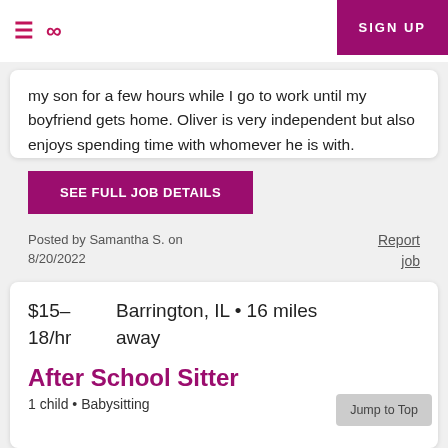≡ ∞ SIGN UP
my son for a few hours while I go to work until my boyfriend gets home. Oliver is very independent but also enjoys spending time with whomever he is with.
SEE FULL JOB DETAILS
Posted by Samantha S. on 8/20/2022
Report job
$15–18/hr   Barrington, IL • 16 miles away
After School Sitter
1 child • Babysitting